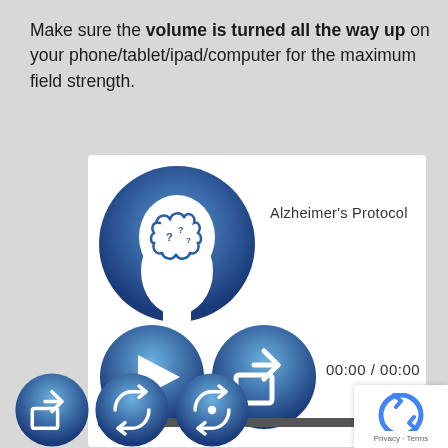Make sure the volume is turned all the way up on your phone/tablet/ipad/computer for the maximum field strength.
[Figure (screenshot): Audio player widget with brain/Alzheimer icon, play button, share button, time display 00:00 / 00:00, and a progress bar. Labeled 'Alzheimer's Protocol'.]
[Figure (screenshot): Bottom row of three circular blue control icons: share/export, loop/repeat, and a combined repeat icon.]
[Figure (logo): reCAPTCHA badge with Privacy and Terms links.]